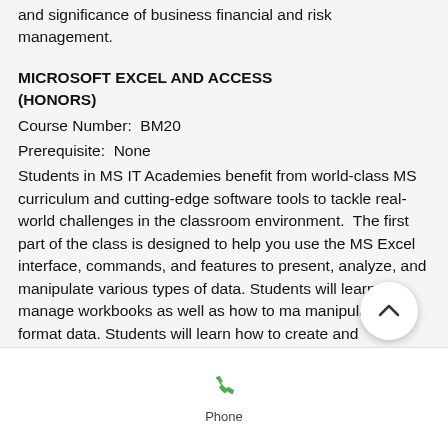and significance of business financial and risk management.
MICROSOFT EXCEL AND ACCESS (HONORS)
Course Number:  BM20
Prerequisite:  None
Students in MS IT Academies benefit from world-class MS curriculum and cutting-edge software tools to tackle real-world challenges in the classroom environment.  The first part of the class is designed to help you use the MS Excel interface, commands, and features to present, analyze, and manipulate various types of data. Students will learn to manage workbooks as well as how to manipulate, and format data. Students will learn how to create and